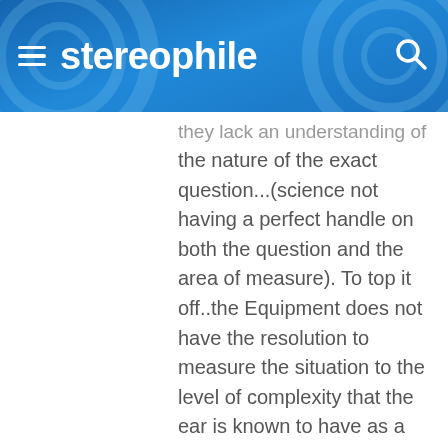stereophile
they lack an understanding of the nature of the exact question...(science not having a perfect handle on both the question and the area of measure). To top it off..the Equipment does not have the resolution to measure the situation to the level of complexity that the ear is known to have as a method of observing and correlating complex signal timing, filtering, and level (as a set of components for analysis)